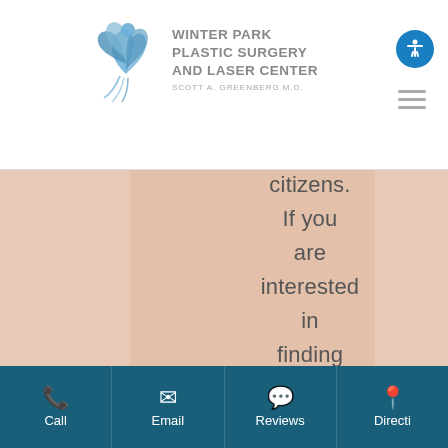[Figure (logo): Winter Park Plastic Surgery and Laser Center logo with phoenix bird and text: WINTER PARK PLASTIC SURGERY AND LASER CENTER, SCOTT A. GREENBERG M.D.]
citizens. If you are interested in finding out more, please contact our plastic
[Figure (other): COVID-19 Update vertical sidebar button in dark teal]
Call  Email  Reviews  Directi[ons]